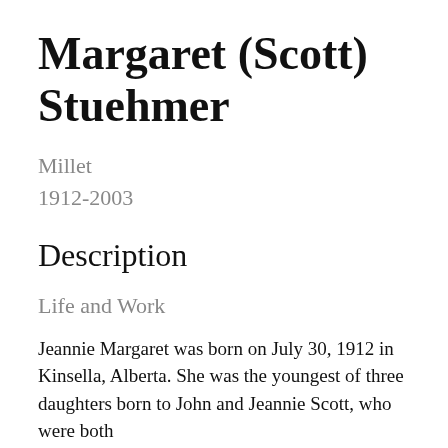Margaret (Scott) Stuehmer
Millet
1912-2003
Description
Life and Work
Jeannie Margaret was born on July 30, 1912 in Kinsella, Alberta. She was the youngest of three daughters born to John and Jeannie Scott, who were both